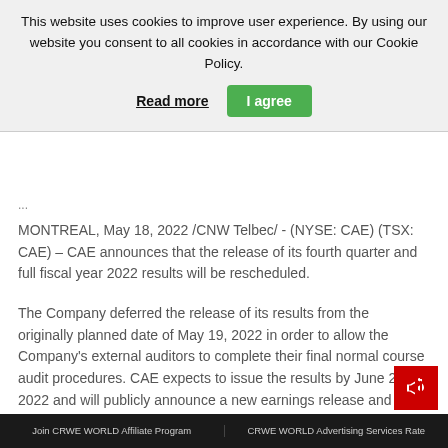This website uses cookies to improve user experience. By using our website you consent to all cookies in accordance with our Cookie Policy.
Read more | I agree
MONTREAL, May 18, 2022 /CNW Telbec/ - (NYSE: CAE) (TSX: CAE) – CAE announces that the release of its fourth quarter and full fiscal year 2022 results will be rescheduled.
The Company deferred the release of its results from the originally planned date of May 19, 2022 in order to allow the Company's external auditors to complete their final normal course audit procedures. CAE expects to issue the results by June 2, 2022 and will publicly announce a new earnings release and conference call date and time as soon as available.
Join CRWE WORLD Affiliate Program | CRWE WORLD Advertising Services Rate